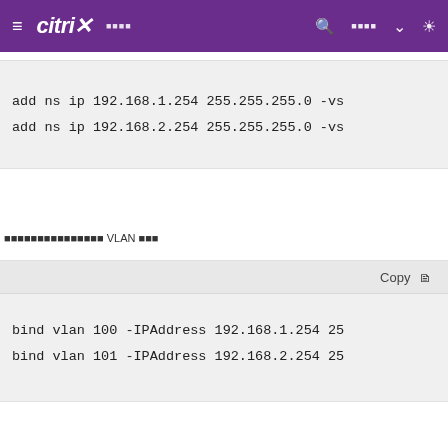≡ citrix ꀀꀀꀀꀀ   🔍  ꀀꀀꀀꀀ ∨  ✿
add ns ip 192.168.1.254 255.255.255.0 -vs
add ns ip 192.168.2.254 255.255.255.0 -vs
ꀀꀀꀀꀀꀀꀀꀀꀀꀀꀀꀀꀀꀀꀀꀀ VLAN ꀀꀀꀀ
Copy
bind vlan 100 -IPAddress 192.168.1.254 25
bind vlan 101 -IPAddress 192.168.2.254 25